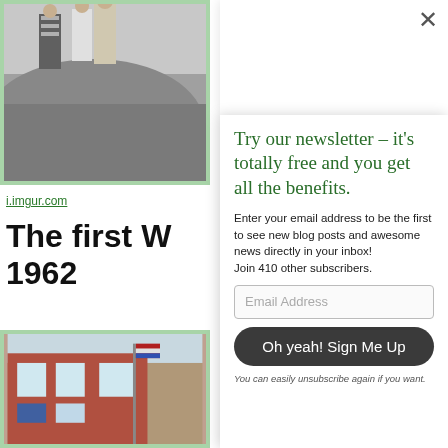[Figure (photo): Black and white photo of children running outdoors, bordered in green]
i.imgur.com
The first W... 1962
[Figure (photo): Color photo of a brick building with windows and an American flag]
Try our newsletter – it's totally free and you get all the benefits.
Enter your email address to be the first to see new blog posts and awesome news directly in your inbox!
Join 410 other subscribers.
Email Address
Oh yeah! Sign Me Up
You can easily unsubscribe again if you want.